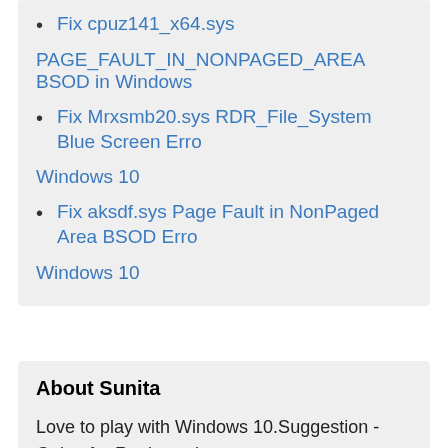Fix cpuz141_x64.sys PAGE_FAULT_IN_NONPAGED_AREA BSOD in Windows
Fix Mrxsmb20.sys RDR_File_System Blue Screen Error in Windows 10
Fix aksdf.sys Page Fault in NonPaged Area BSOD Error in Windows 10
About Sunita
Love to play with Windows 10.Suggestion - Going for Registry change or system files edit then remember to take a backup or create a restore